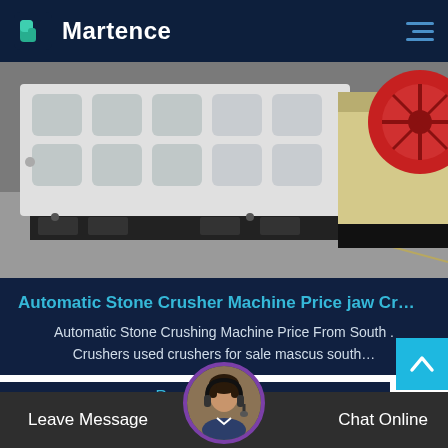Martence
[Figure (photo): Industrial jaw crusher machines (white and beige colored) on a factory floor, with a large red flywheel visible on the right side.]
Automatic Stone Crusher Machine Price jaw Cr…
Automatic Stone Crushing Machine Price From South . Crushers used crushers for sale mascus south…
Read More
Leave Message   Chat Online